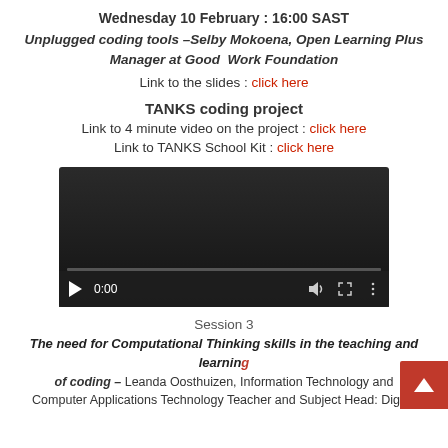Wednesday 10 February : 16:00 SAST
Unplugged coding tools –Selby Mokoena, Open Learning Plus Manager at Good  Work Foundation
Link to the slides : click here
TANKS coding project
Link to 4 minute video on the project : click here
Link to TANKS School Kit : click here
[Figure (screenshot): Embedded video player showing a paused video at 0:00 with dark background, play button, volume, fullscreen, and options icons with a progress bar at the bottom.]
Session 3
The need for Computational Thinking skills in the teaching and learning of coding – Leanda Oosthuizen, Information Technology and Computer Applications Technology Teacher and Subject Head: Digital